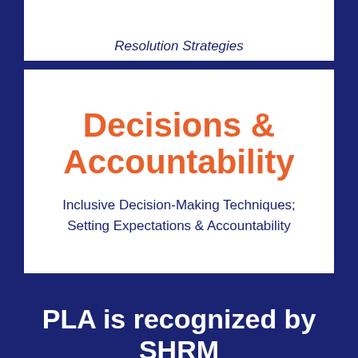Resolution Strategies
Decisions & Accountability
Inclusive Decision-Making Techniques; Setting Expectations & Accountability
PLA is recognized by SHRM
to offer Professional Development Credits